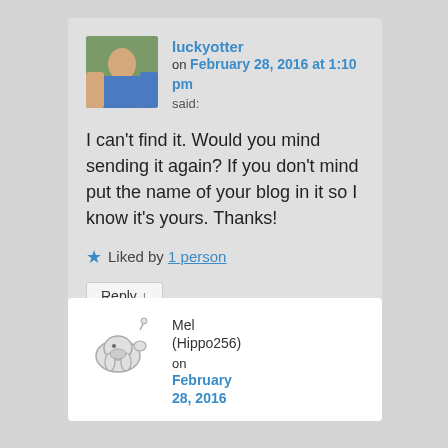[Figure (screenshot): Blog comment section screenshot showing two comments. First comment by luckyotter on February 28, 2016 at 1:10 pm. Second comment by Mel (Hippo256) on February 28, 2016.]
luckyotter on February 28, 2016 at 1:10 pm said: I can't find it. Would you mind sending it again? If you don't mind put the name of your blog in it so I know it's yours. Thanks!
Liked by 1 person
Reply ↓
Mel (Hippo256) on February 28, 2016